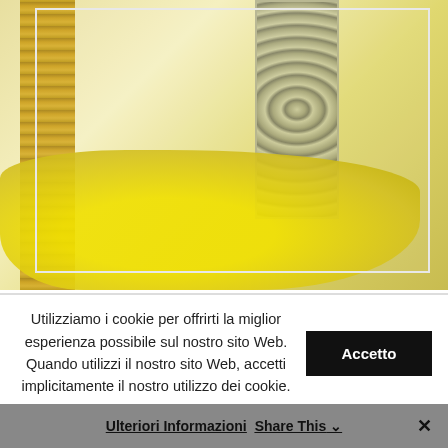[Figure (photo): Fashion/lifestyle photo showing yellow fabric draped over surfaces with a wood/bamboo element on the left and a snake-skin textured item (bag or accessory) in the center-top area. Image appears faded/overexposed with white border framing.]
Utilizziamo i cookie per offrirti la miglior esperienza possibile sul nostro sito Web. Quando utilizzi il nostro sito Web, accetti implicitamente il nostro utilizzo dei cookie.
Accetto
Ulteriori Informazioni
Share This